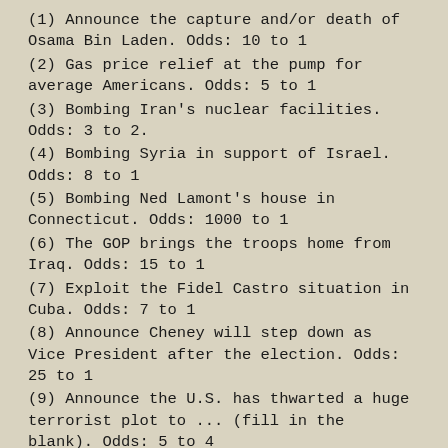(1) Announce the capture and/or death of Osama Bin Laden. Odds: 10 to 1
(2) Gas price relief at the pump for average Americans. Odds: 5 to 1
(3) Bombing Iran's nuclear facilities. Odds: 3 to 2.
(4) Bombing Syria in support of Israel. Odds: 8 to 1
(5) Bombing Ned Lamont's house in Connecticut. Odds: 1000 to 1
(6) The GOP brings the troops home from Iraq. Odds: 15 to 1
(7) Exploit the Fidel Castro situation in Cuba. Odds: 7 to 1
(8) Announce Cheney will step down as Vice President after the election. Odds: 25 to 1
(9) Announce the U.S. has thwarted a huge terrorist plot to ... (fill in the blank). Odds: 5 to 4
(10) Announce that Barbara and/or Jenna Bush has joined the Marines and will soon be deploying to Iraq. Odds: 17.5 billion to 1